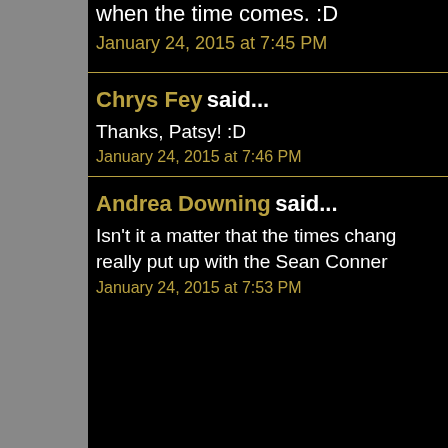when the time comes. :D
January 24, 2015 at 7:45 PM
Chrys Fey said...
Thanks, Patsy! :D
January 24, 2015 at 7:46 PM
Andrea Downing said...
Isn't it a matter that the times chang... really put up with the Sean Conner...
January 24, 2015 at 7:53 PM